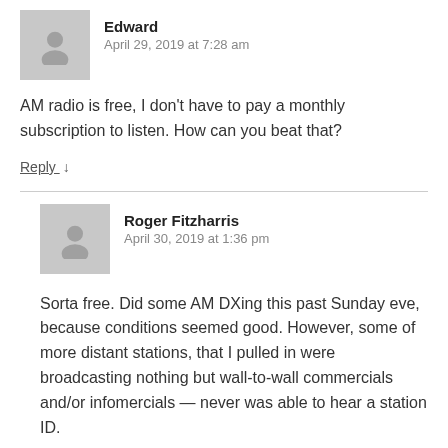[Figure (other): Gray avatar placeholder icon for user Edward]
Edward
April 29, 2019 at 7:28 am
AM radio is free, I don't have to pay a monthly subscription to listen. How can you beat that?
Reply ↓
[Figure (other): Gray avatar placeholder icon for user Roger Fitzharris]
Roger Fitzharris
April 30, 2019 at 1:36 pm
Sorta free. Did some AM DXing this past Sunday eve, because conditions seemed good. However, some of more distant stations, that I pulled in were broadcasting nothing but wall-to-wall commercials and/or infomercials — never was able to hear a station ID.